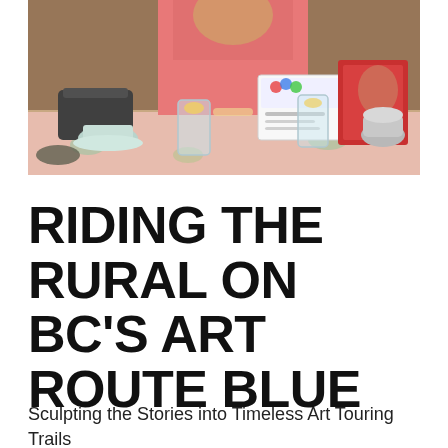[Figure (photo): A woman in a pink top sitting at a table with teacups, water glasses, a handbag, and a Happy Birthday card/certificate. The table has a floral tablecloth.]
RIDING THE RURAL ON BC'S ART ROUTE BLUE
Sculpting the Stories into Timeless Art Touring Trails